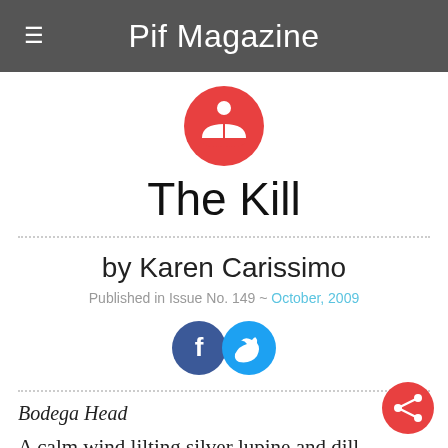Pif Magazine
[Figure (logo): Red circle with white book/reader icon logo]
The Kill
by Karen Carissimo
Published in Issue No. 149 ~ October, 2009
[Figure (other): Facebook and Twitter social share icons]
Bodega Head
A calm wind lilting silver lupine and dill
[Figure (other): Red circular share button (floating action button)]